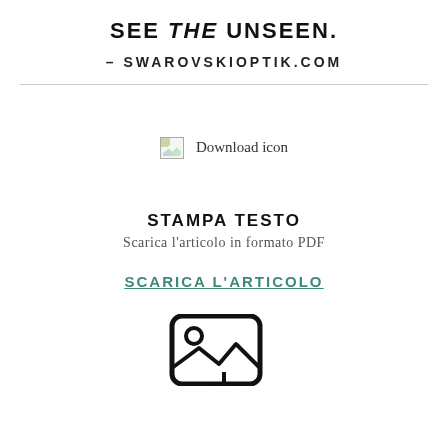SEE THE UNSEEN.
– SWAROVSKIOPTIK.COM
[Figure (illustration): Broken image placeholder icon followed by text 'Download icon']
STAMPA TESTO
Scarica l'articolo in formato PDF
SCARICA L'ARTICOLO
[Figure (illustration): Download/image icon with a circle, mountain landscape inside, and a downward arrow at the bottom — partially visible at page bottom]